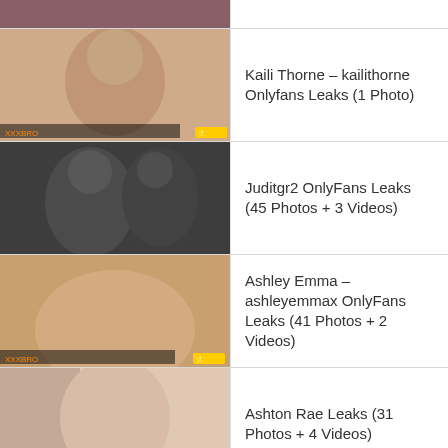(partial top item, thumbnail only visible)
Kaili Thorne – kailithorne Onlyfans Leaks (1 Photo)
Juditgr2 OnlyFans Leaks (45 Photos + 3 Videos)
Ashley Emma – ashleyemmax OnlyFans Leaks (41 Photos + 2 Videos)
Ashton Rae Leaks (31 Photos + 4 Videos)
Louisa Khovanski – louisakhovanski OnlyFans Leaks (48